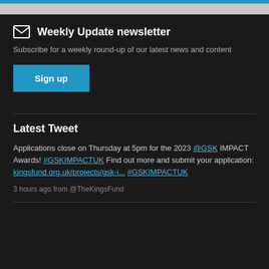Weekly Update newsletter
Subscribe for a weekly round-up of our latest news and content
Latest Tweet
Applications close on Thursday at 5pm for the 2023 @GSK IMPACT Awards! #GSKIMPACTUK Find out more and submit your application: kingsfund.org.uk/projects/gsk-i... #GSKIMPACTUK
3 hours ago from @TheKingsFund